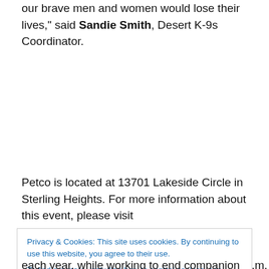our brave men and women would lose their lives," said Sandie Smith, Desert K-9s Coordinator.
Petco is located at 13701 Lakeside Circle in Sterling Heights. For more information about this event, please visit www.michiganhumane.org or call 1-866-MHUMANE (648-6262), Monday through Friday, from 8 a.m. to 5 p.m.
Privacy & Cookies: This site uses cookies. By continuing to use this website, you agree to their use.
To find out more, including how to control cookies, see here: Cookie Policy
each year, while working to end companion animal